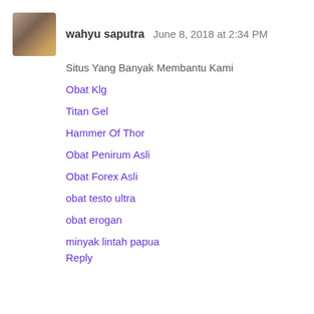wahyu saputra June 8, 2018 at 2:34 PM
Situs Yang Banyak Membantu Kami
Obat Klg
Titan Gel
Hammer Of Thor
Obat Penirum Asli
Obat Forex Asli
obat testo ultra
obat erogan
minyak lintah papua
Reply